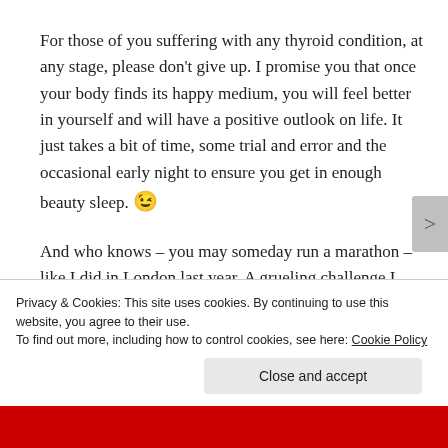For those of you suffering with any thyroid condition, at any stage, please don't give up. I promise you that once your body finds its happy medium, you will feel better in yourself and will have a positive outlook on life. It just takes a bit of time, some trial and error and the occasional early night to ensure you get in enough beauty sleep. 😉
And who knows – you may someday run a marathon – like I did in London last year. A grueling challenge I never thought I'd do but is by far the biggest achievement of my life. To...
Privacy & Cookies: This site uses cookies. By continuing to use this website, you agree to their use.
To find out more, including how to control cookies, see here: Cookie Policy
Close and accept